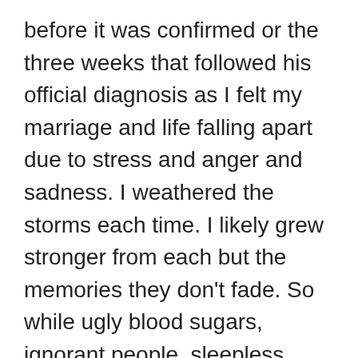before it was confirmed or the three weeks that followed his official diagnosis as I felt my marriage and life falling apart due to stress and anger and sadness. I weathered the storms each time. I likely grew stronger from each but the memories they don't fade. So while ugly blood sugars, ignorant people, sleepless nights, and pure exhaustion get me down on any given day or hour it is the memories that trigger the real pain.
Thankfully I am writing this post a day late and I know that the next post I write is about what gives me strength so I won't dwell in this ugly world any longer than it takes me to hit 'publish'